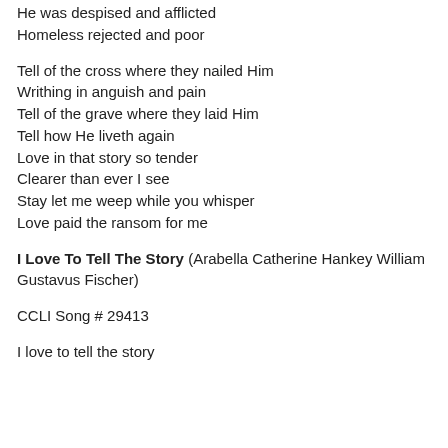He was despised and afflicted
Homeless rejected and poor
Tell of the cross where they nailed Him
Writhing in anguish and pain
Tell of the grave where they laid Him
Tell how He liveth again
Love in that story so tender
Clearer than ever I see
Stay let me weep while you whisper
Love paid the ransom for me
I Love To Tell The Story (Arabella Catherine Hankey William Gustavus Fischer)
CCLI Song # 29413
I love to tell the story